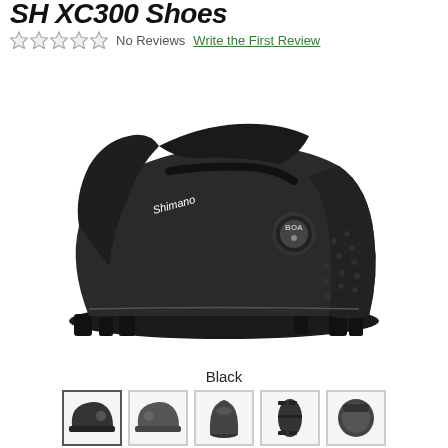SH XC300 Shoes
No Reviews   Write the First Review
[Figure (photo): Shimano SH-XC300 mountain bike shoe in black, side profile view showing BOA dial closure and lugged sole]
Black
[Figure (photo): Five thumbnail views of the Shimano SH-XC300 shoe: side angle, opposite side, front toe, sole bottom, and top-down view]